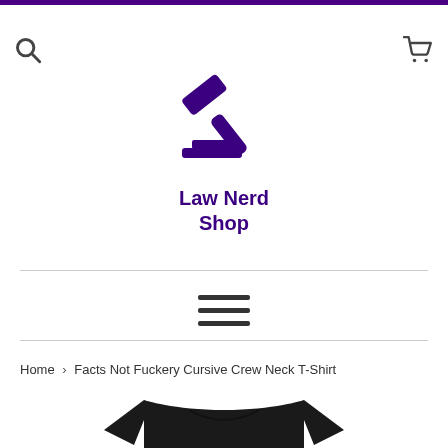[Figure (logo): Law Nerd Shop logo with a purple gavel icon and bold purple text 'Law Nerd Shop']
[Figure (other): Hamburger menu icon (three horizontal lines)]
Home › Facts Not Fuckery Cursive Crew Neck T-Shirt
[Figure (photo): Black crew neck t-shirt product photo, cropped — only the top portion visible]